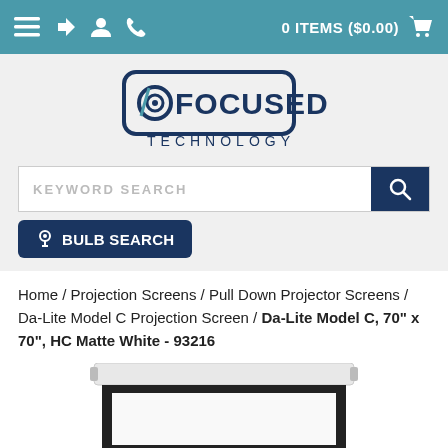0 ITEMS ($0.00)
[Figure (logo): Focused Technology logo with stylized camera lens icon and text FOCUSED TECHNOLOGY]
KEYWORD SEARCH
BULB SEARCH
Home / Projection Screens / Pull Down Projector Screens / Da-Lite Model C Projection Screen / Da-Lite Model C, 70" x 70", HC Matte White - 93216
[Figure (photo): Pull-down projection screen (Da-Lite Model C) partially unrolled, showing white projection surface with black border, white roller casing at top]